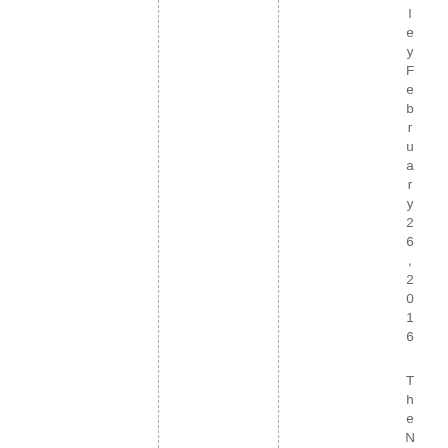leyFebruary 26, 2016 The Native Ha
dashed column guides